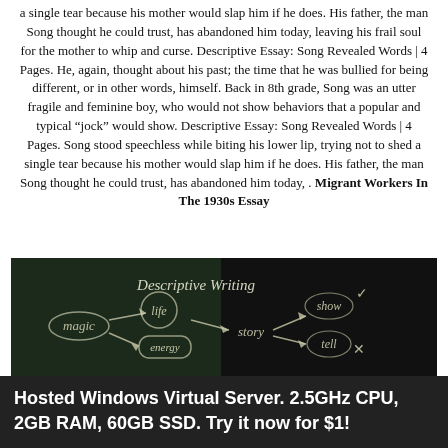a single tear because his mother would slap him if he does. His father, the man Song thought he could trust, has abandoned him today, leaving his frail soul for the mother to whip and curse. Descriptive Essay: Song Revealed Words | 4 Pages. He, again, thought about his past; the time that he was bullied for being different, or in other words, himself. Back in 8th grade, Song was an utter fragile and feminine boy, who would not show behaviors that a popular and typical “jock” would show. Descriptive Essay: Song Revealed Words | 4 Pages. Song stood speechless while biting his lower lip, trying not to shed a single tear because his mother would slap him if he does. His father, the man Song thought he could trust, has abandoned him today, . Migrant Workers In The 1930s Essay
[Figure (photo): Chalkboard with chalk-drawn diagram showing 'Descriptive Writing' as a heading, with 'magic', 'life', 'energy', 'story', 'show' (checkmark), 'tell' (X) written in chalk with arrows connecting them. A person is partially visible at the bottom.]
Hosted Windows Virtual Server. 2.5GHz CPU, 2GB RAM, 60GB SSD. Try it now for $1!